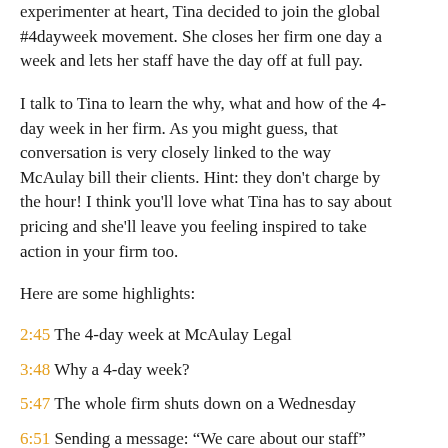experimenter at heart, Tina decided to join the global #4dayweek movement. She closes her firm one day a week and lets her staff have the day off at full pay.
I talk to Tina to learn the why, what and how of the 4-day week in her firm. As you might guess, that conversation is very closely linked to the way McAulay bill their clients. Hint: they don't charge by the hour! I think you'll love what Tina has to say about pricing and she'll leave you feeling inspired to take action in your firm too.
Here are some highlights:
2:45 The 4-day week at McAulay Legal
3:48 Why a 4-day week?
5:47 The whole firm shuts down on a Wednesday
6:51 Sending a message: “We care about our staff”
9:25 Measuring the impact of the 4-day week